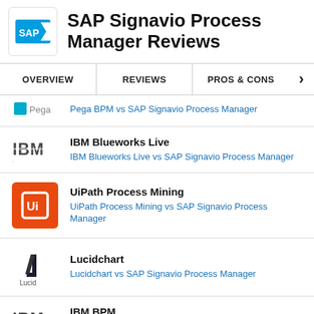SAP Signavio Process Manager Reviews
OVERVIEW | REVIEWS | PROS & CONS
Pega BPM vs SAP Signavio Process Manager
IBM Blueworks Live
IBM Blueworks Live vs SAP Signavio Process Manager
UiPath Process Mining
UiPath Process Mining vs SAP Signavio Process Manager
Lucidchart
Lucidchart vs SAP Signavio Process Manager
IBM BPM
IBM BPM vs SAP Signavio Process Manager